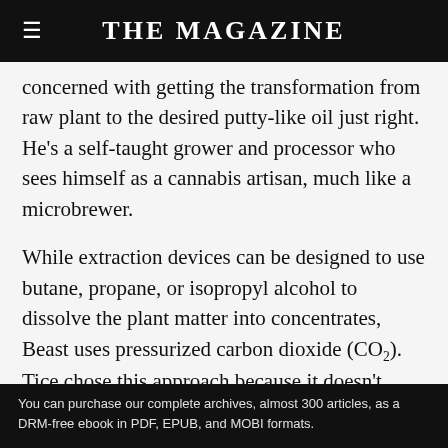THE MAGAZINE
concerned with getting the transformation from raw plant to the desired putty-like oil just right. He’s a self-taught grower and processor who sees himself as a cannabis artisan, much like a microbrewer.
While extraction devices can be designed to use butane, propane, or isopropyl alcohol to dissolve the plant matter into concentrates, Beast uses pressurized carbon dioxide (CO2). Tice chose this approach because it doesn’t leave traces of solvents
You can purchase our complete archives, almost 300 articles, as a DRM-free ebook in PDF, EPUB, and MOBI formats.